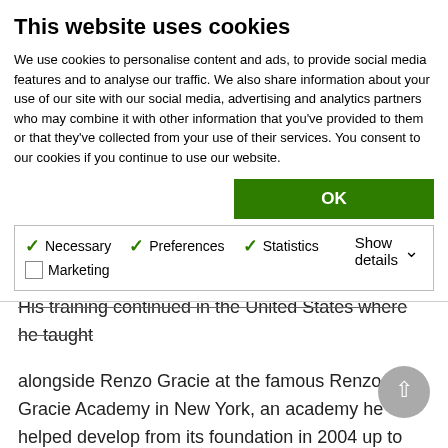This website uses cookies
We use cookies to personalise content and ads, to provide social media features and to analyse our traffic. We also share information about your use of our site with our social media, advertising and analytics partners who may combine it with other information that you've provided to them or that they've collected from your use of their services. You consent to our cookies if you continue to use our website.
alongside Renzo Gracie at the famous Renzo Gracie Academy in New York, an academy he helped develop from its foundation in 2004 up to 2009. This partnership resulted in an important contribution as a teacher and as the academy's administrator.
Rafael Correa was also involved in the expansion of the Evolve-MMA group in Singapore, where he spent two years. After a layoff to be with his family, Rafael Correa returned to Brazil where he became involved in his brother's academy, Gordo Jiu Jitsu in Rio de Janeiro.